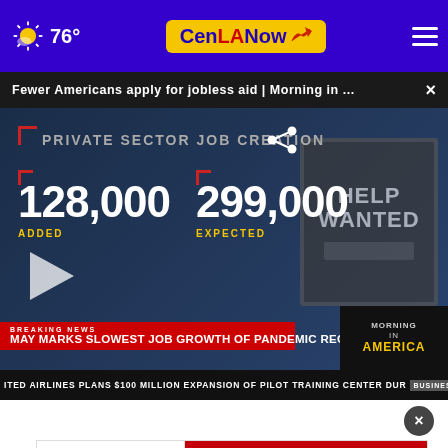76° CenLANow
Fewer Americans apply for jobless aid | Morning in ... ×
[Figure (screenshot): News broadcast screenshot showing Private Sector Job Creation statistics: 128,000 Added vs 299,000 Expected, with breaking news ticker 'MAY MARKS SLOWEST JOB GROWTH OF PANDEMIC RECOVERY' and Morning in America logo. Bottom ticker: ITED AIRLINES PLANS $100 MILLION EXPANSION OF PILOT TRAINING CENTER DUR BUSINESS NEWSNATION]
[Figure (screenshot): Southern Heritage Bank advertisement: A PERSON YOU CAN TALK TO. AND A BANK YOU CAN TRUST. www.shbnet.com]